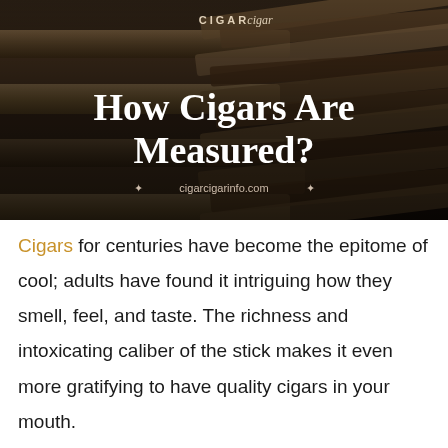[Figure (photo): Hero image of stacked cigars in sepia/dark brown tones with overlay text showing 'CIGAR cigar' logo at top, large bold serif title 'How Cigars Are Measured?' in white, and website URL 'cigarcigarinfo.com' with decorative stars below the title.]
Cigars for centuries have become the epitome of cool; adults have found it intriguing how they smell, feel, and taste. The richness and intoxicating caliber of the stick makes it even more gratifying to have quality cigars in your mouth.